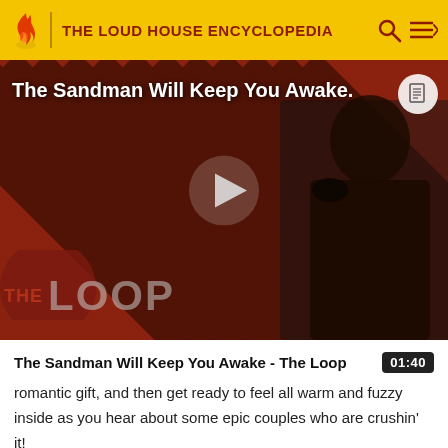THE LOUD HOUSE ENCYCLOPEDIA
[Figure (screenshot): Video thumbnail showing a dark-cloaked figure against a red and black diagonal striped background with 'THE LOOP' logo. Title overlay reads 'The Sandman Will Keep You Awake.' with a play button in the center.]
The Sandman Will Keep You Awake - The Loop
romantic gift, and then get ready to feel all warm and fuzzy inside as you hear about some epic couples who are crushin' it!